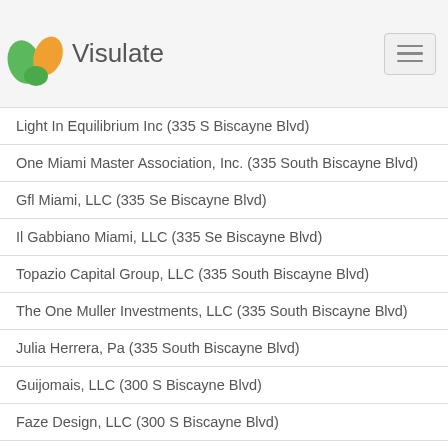Visulate
Light In Equilibrium Inc (335 S Biscayne Blvd)
One Miami Master Association, Inc. (335 South Biscayne Blvd)
Gfl Miami, LLC (335 Se Biscayne Blvd)
Il Gabbiano Miami, LLC (335 Se Biscayne Blvd)
Topazio Capital Group, LLC (335 South Biscayne Blvd)
The One Muller Investments, LLC (335 South Biscayne Blvd)
Julia Herrera, Pa (335 South Biscayne Blvd)
Guijomais, LLC (300 S Biscayne Blvd)
Faze Design, LLC (300 S Biscayne Blvd)
First Class Ventures LLC. (300 S Biscayne Blvd)